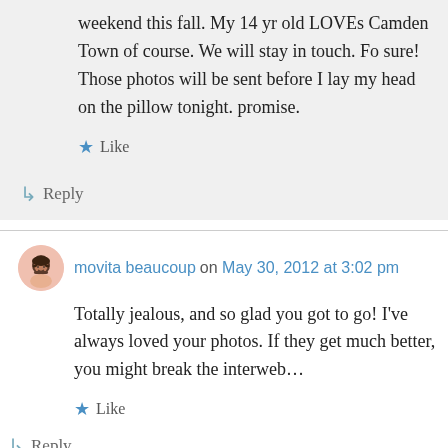weekend this fall. My 14 yr old LOVEs Camden Town of course. We will stay in touch. Fo sure! Those photos will be sent before I lay my head on the pillow tonight. promise.
★ Like
↳ Reply
movita beaucoup on May 30, 2012 at 3:02 pm
Totally jealous, and so glad you got to go! I've always loved your photos. If they get much better, you might break the interweb…
★ Like
↳ Reply